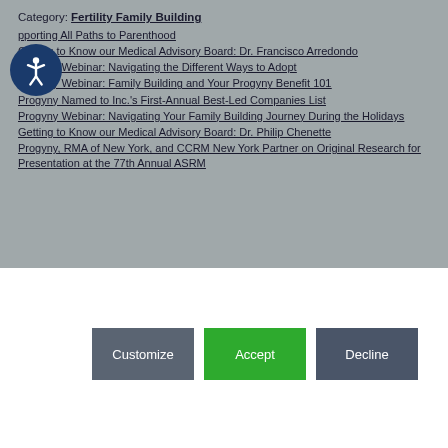Category: Fertility Family Building
Supporting All Paths to Parenthood
Getting to Know our Medical Advisory Board: Dr. Francisco Arredondo
Progyny Webinar: Navigating the Different Ways to Adopt
Progyny Webinar: Family Building and Your Progyny Benefit 101
Progyny Named to Inc.'s First-Annual Best-Led Companies List
Progyny Webinar: Navigating Your Family Building Journey During the Holidays
Getting to Know our Medical Advisory Board: Dr. Philip Chenette
Progyny, RMA of New York, and CCRM New York Partner on Original Research for Presentation at the 77th Annual ASRM
[Figure (other): Cookie consent popup with Customize, Accept, and Decline buttons and a privacy shield icon]